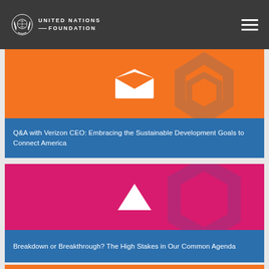[Figure (logo): United Nations Foundation logo — white laurel wreath with text 'UNITED NATIONS FOUNDATION']
[Figure (illustration): Card with orange background and white open envelope icon, blue lower section]
Q&A with Verizon CEO: Embracing the Sustainable Development Goals to Connect America
[Figure (illustration): Card with magenta/pink background and white triangle/play icon, blue lower section]
Breakdown or Breakthrough? The High Stakes in Our Common Agenda
[Figure (illustration): Partial card with orange background, partially visible]